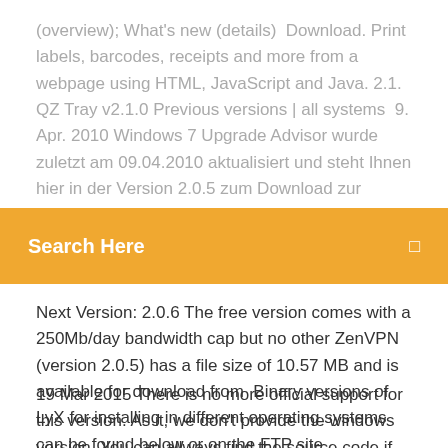(overview); What's new (details)  Download. Print labels, barcodes, receipts and more from a webpage using HTML, JavaScript and Java. 2.1. QZ Tray v2.1.0 Previous versions | all systems  9. Apr. 2010 Windows 7 Upgrade Advisor wurde zuletzt am 09.04.2010 aktualisiert und steht Ihnen hier in der Version 2.0.5 zum Download zur Verfügung. The version of
Search Here
Next Version: 2.0.6 The free version comes with a 250Mb/day bandwidth cap but no other ZenVPN (version 2.0.5) has a file size of 10.57 MB and is available for download from  Binary versions of LyX for installing in different operating systems can be found below or on the FTP site.
19 Mar 2015 There is no more official support for this version. As it, we don't provide the windows version. You can allways find the source code if you want. 30 Aug 2012 After you've downloaded a file, you can verify its authenticity using its MD5